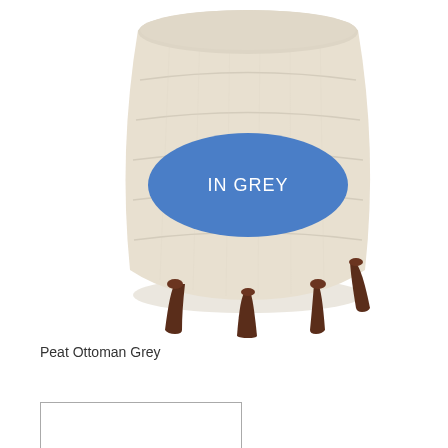[Figure (photo): A round upholstered ottoman in beige/cream linen fabric with dark walnut wooden legs. A blue oval badge overlaid on the ottoman reads 'IN GREY' in white text.]
Peat Ottoman Grey
[Figure (other): A white rectangular box with a thin border, partially visible at the bottom of the page.]